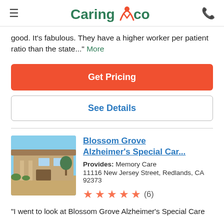Caring.com
good. It's fabulous. They have a higher worker per patient ratio than the state..." More
Get Pricing
See Details
Blossom Grove Alzheimer's Special Car...
Provides: Memory Care
11116 New Jersey Street, Redlands, CA 92373
★★★★★ (6)
"I went to look at Blossom Grove Alzheimer's Special Care